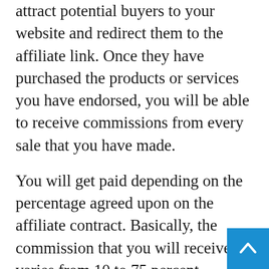attract potential buyers to your website and redirect them to the affiliate link. Once they have purchased the products or services you have endorsed, you will be able to receive commissions from every sale that you have made.
You will get paid depending on the percentage agreed upon on the affiliate contract. Basically, the commission that you will receive varies from 10 to 75 percent.
For instance, you are selling a certain product that is worth $67 and the affiliate commission is set at 60 percent. It means that you will get paid $40.20 for every sale that you made from tha